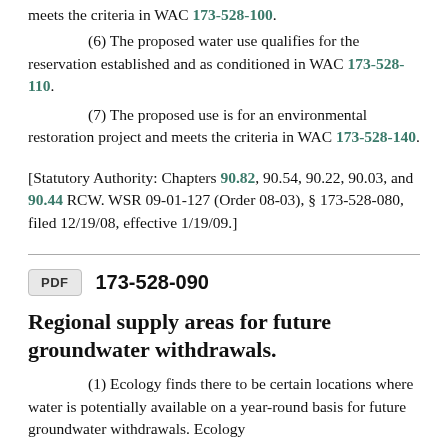meets the criteria in WAC 173-528-100.
(6) The proposed water use qualifies for the reservation established and as conditioned in WAC 173-528-110.
(7) The proposed use is for an environmental restoration project and meets the criteria in WAC 173-528-140.
[Statutory Authority: Chapters 90.82, 90.54, 90.22, 90.03, and 90.44 RCW. WSR 09-01-127 (Order 08-03), § 173-528-080, filed 12/19/08, effective 1/19/09.]
173-528-090
Regional supply areas for future groundwater withdrawals.
(1) Ecology finds there to be certain locations where water is potentially available on a year-round basis for future groundwater withdrawals. Ecology